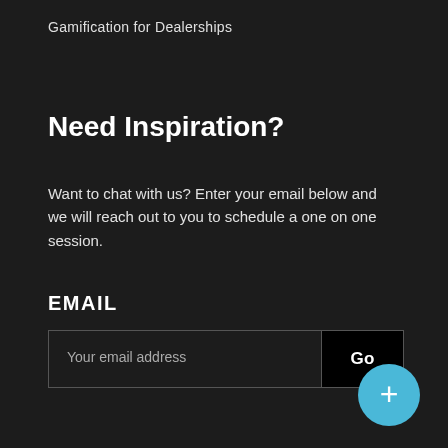Gamification for Dealerships
Need Inspiration?
Want to chat with us? Enter your email below and we will reach out to you to schedule a one on one session.
EMAIL
Your email address | Go